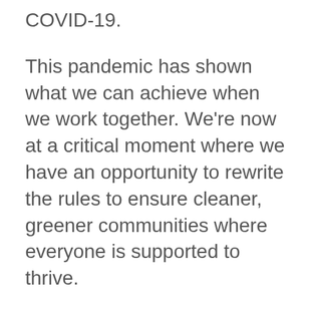COVID-19.
This pandemic has shown what we can achieve when we work together. We're now at a critical moment where we have an opportunity to rewrite the rules to ensure cleaner, greener communities where everyone is supported to thrive.
James and Marama will lead a conversation with guest panelists about how we can prioritise caring for people and the environment and create an economy that enables this.
This is a time to think big and to put